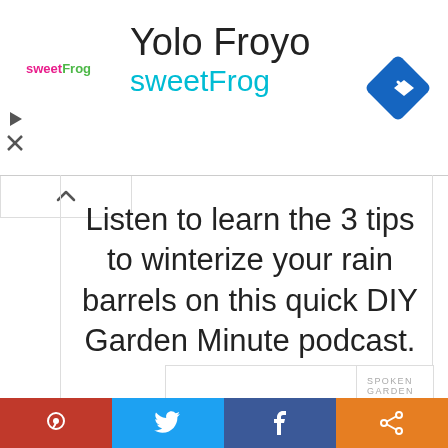[Figure (screenshot): Advertisement banner for sweetFrog Yolo Froyo with logo, title text, and navigation diamond icon]
[Figure (screenshot): Scroll-up tab with chevron up arrow]
Listen to learn the 3 tips to winterize your rain barrels on this quick DIY Garden Minute podcast.
[Figure (screenshot): Spoken Garden Podcast player widget showing '3 Tips to Winterize Your Rain Bar...' with play button, progress bar, time display 00:00:00, and control icons]
[Figure (screenshot): Social sharing bar with Pinterest, Twitter, Facebook, and share buttons]